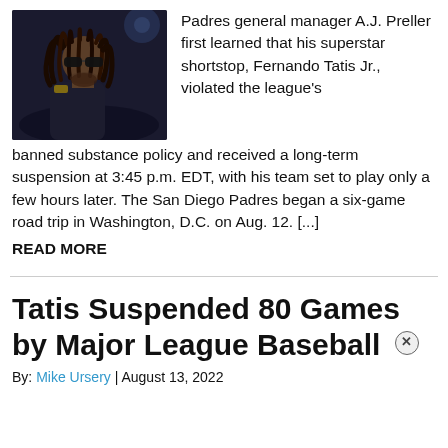[Figure (photo): Photo of a baseball player with dreadlocks wearing dark uniform, looking upward, dark background]
Padres general manager A.J. Preller first learned that his superstar shortstop, Fernando Tatis Jr., violated the league's banned substance policy and received a long-term suspension at 3:45 p.m. EDT, with his team set to play only a few hours later. The San Diego Padres began a six-game road trip in Washington, D.C. on Aug. 12. [...]
READ MORE
Tatis Suspended 80 Games by Major League Baseball
By: Mike Ursery | August 13, 2022